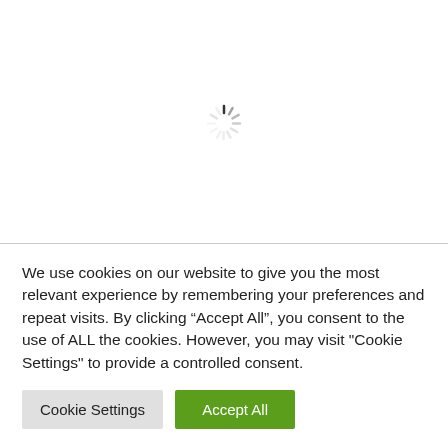[Figure (other): A loading spinner (circular animated indicator) centered in the upper white area of the page]
We use cookies on our website to give you the most relevant experience by remembering your preferences and repeat visits. By clicking “Accept All”, you consent to the use of ALL the cookies. However, you may visit "Cookie Settings" to provide a controlled consent.